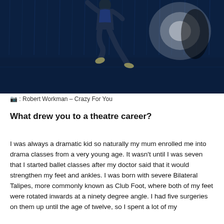[Figure (photo): A dancer in a suit leaping on a dark stage lit in blue, with a bright spotlight in the background casting a shadow on the wall.]
📷 : Robert Workman – Crazy For You
What drew you to a theatre career?
I was always a dramatic kid so naturally my mum enrolled me into drama classes from a very young age. It wasn't until I was seven that I started ballet classes after my doctor said that it would strengthen my feet and ankles. I was born with severe Bilateral Talipes, more commonly known as Club Foot, where both of my feet were rotated inwards at a ninety degree angle. I had five surgeries on them up until the age of twelve, so I spent a lot of my